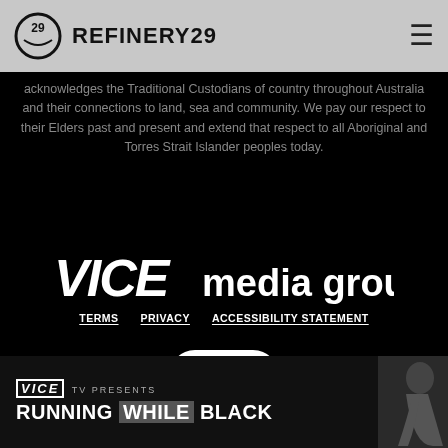REFINERY29
acknowledges the Traditional Custodians of country throughout Australia and their connections to land, sea and community. We pay our respect to their Elders past and present and extend that respect to all Aboriginal and Torres Strait Islander peoples today.
[Figure (logo): VICE media group logo in white text on black background]
TERMS   PRIVACY   ACCESSIBILITY STATEMENT
[Figure (logo): Accessibility icons badge showing wheelchair, arrow, and screen symbols in a pill-shaped white border]
© 2022 VICE MEDIA GROUP
[Figure (screenshot): VICE TV Presents advertisement strip: RUNNING WHILE BLACK with person image on right]